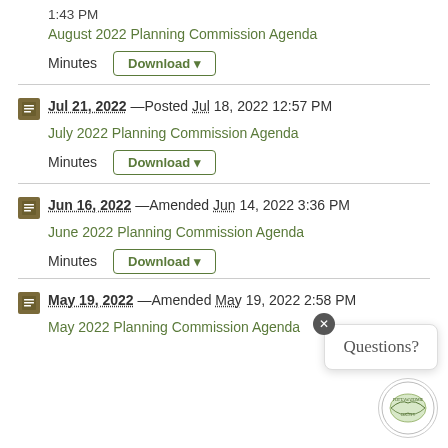1:43 PM
August 2022 Planning Commission Agenda
Minutes  Download ▼
Jul 21, 2022 — Posted Jul 18, 2022 12:57 PM
July 2022 Planning Commission Agenda
Minutes  Download ▼
Jun 16, 2022 — Amended Jun 14, 2022 3:36 PM
June 2022 Planning Commission Agenda
Minutes  Download ▼
May 19, 2022 — Amended May 19, 2022 2:58 PM
May 2022 Planning Commission Agenda
[Figure (logo): Pottawatomie County logo circle]